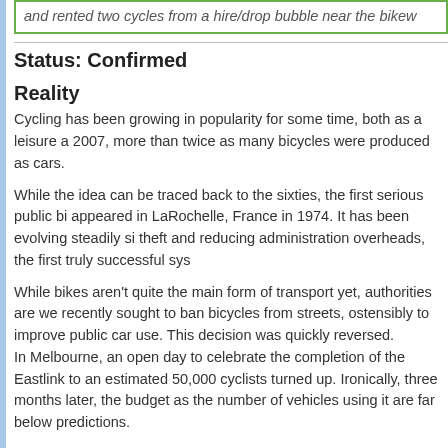and rented two cycles from a hire/drop bubble near the bikew
Status: Confirmed
Reality
Cycling has been growing in popularity for some time, both as a leisure a... 2007, more than twice as many bicycles were produced as cars.
While the idea can be traced back to the sixties, the first serious public bi appeared in LaRochelle, France in 1974. It has been evolving steadily si theft and reducing administration overheads, the first truly successful sys
While bikes aren't quite the main form of transport yet, authorities are we recently sought to ban bicycles from streets, ostensibly to improve public car use. This decision was quickly reversed. In Melbourne, an open day to celebrate the completion of the Eastlink to an estimated 50,000 cyclists turned up. Ironically, three months later, the budget as the number of vehicles using it are far below predictions.
Cycling is cheap, non-polluting and a great way to exercise. However, cy it sounds when you are in a city that has grown with the easy availability
too far? ... this is, in part psychological; things seem further w